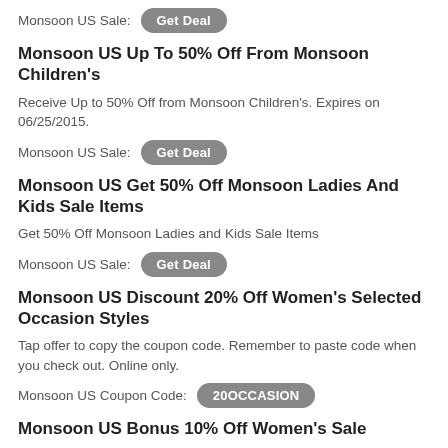Monsoon US Sale: Get Deal
Monsoon US Up To 50% Off From Monsoon Children's
Receive Up to 50% Off from Monsoon Children's. Expires on 06/25/2015.
Monsoon US Sale: Get Deal
Monsoon US Get 50% Off Monsoon Ladies And Kids Sale Items
Get 50% Off Monsoon Ladies and Kids Sale Items
Monsoon US Sale: Get Deal
Monsoon US Discount 20% Off Women's Selected Occasion Styles
Tap offer to copy the coupon code. Remember to paste code when you check out. Online only.
Monsoon US Coupon Code: 20OCCASION
Monsoon US Bonus 10% Off Women's Sale